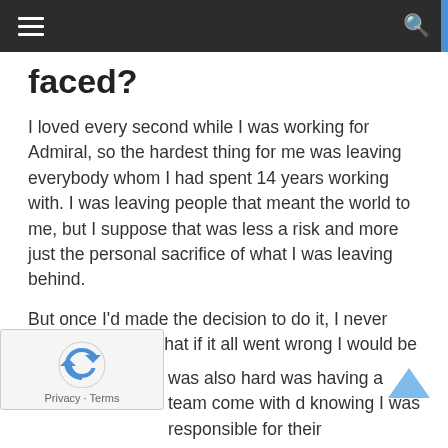Navigation bar with hamburger menu and search icon
faced?
I loved every second while I was working for Admiral, so the hardest thing for me was leaving everybody whom I had spent 14 years working with. I was leaving people that meant the world to me, but I suppose that was less a risk and more just the personal sacrifice of what I was leaving behind.
But once I'd made the decision to do it, I never wavered. I knew that if it all went wrong I would be able to find another job, so I didn't think it was a huge risk.
was also hard was having a team come with d knowing I was responsible for their